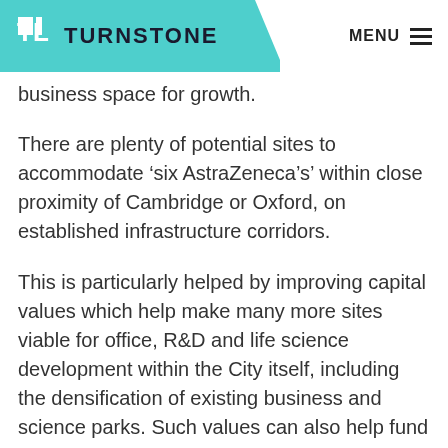TURNSTONE  MENU
business space for growth.
There are plenty of potential sites to accommodate ‘six AstraZeneca’s’ within close proximity of Cambridge or Oxford, on established infrastructure corridors.
This is particularly helped by improving capital values which help make many more sites viable for office, R&D and life science development within the City itself, including the densification of existing business and science parks. Such values can also help fund infrastructure required for less accessible locations.